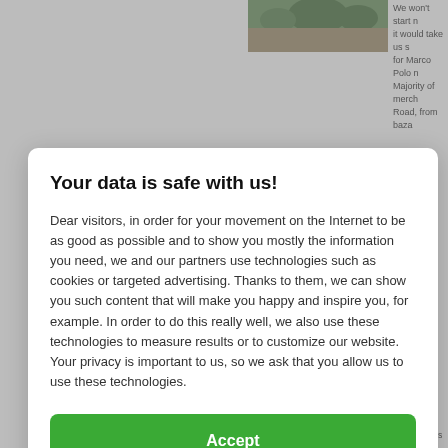[Figure (photo): Partially visible landscape/outdoor photo in top right area of background page]
We won't start n it would take us s for Marco Polo n Majority of merch Road, from baza
Your data is safe with us!
Dear visitors, in order for your movement on the Internet to be as good as possible and to show you mostly the information you need, we and our partners use technologies such as cookies or targeted advertising. Thanks to them, we can show you such content that will make you happy and inspire you, for example. In order to do this really well, we also use these technologies to measure results or to customize our website. Your privacy is important to us, so we ask that you allow us to use these technologies.
Accept
Deny
Set